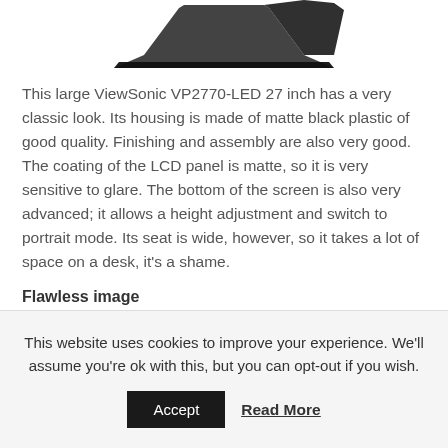[Figure (photo): Partial view of a ViewSonic VP2770-LED monitor stand/base from above, showing the black plastic base shape against a white background.]
This large ViewSonic VP2770-LED 27 inch has a very classic look. Its housing is made of matte black plastic of good quality. Finishing and assembly are also very good. The coating of the LCD panel is matte, so it is very sensitive to glare. The bottom of the screen is also very advanced; it allows a height adjustment and switch to portrait mode. Its seat is wide, however, so it takes a lot of space on a desk, it's a shame.
Flawless image
This website uses cookies to improve your experience. We'll assume you're ok with this, but you can opt-out if you wish.